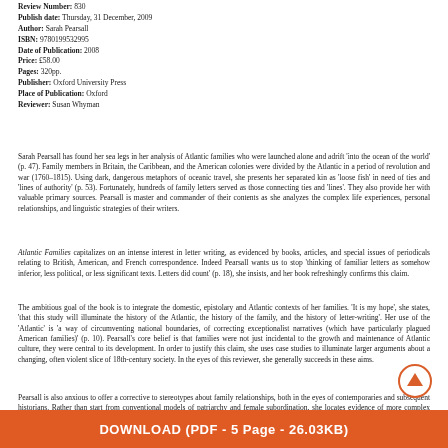Review Number: 830
Publish date: Thursday, 31 December, 2009
Author: Sarah Pearsall
ISBN: 9780199532995
Date of Publication: 2008
Price: £58.00
Pages: 320pp.
Publisher: Oxford University Press
Place of Publication: Oxford
Reviewer: Susan Whyman
Sarah Pearsall has found her sea legs in her analysis of Atlantic families who were launched alone and adrift 'into the ocean of the world' (p. 47). Family members in Britain, the Caribbean, and the American colonies were divided by the Atlantic in a period of revolution and war (1760–1815). Using dark, dangerous metaphors of oceanic travel, she presents her separated kin as 'loose fish' in need of ties and 'lines of authority' (p. 53). Fortunately, hundreds of family letters served as those connecting ties and 'lines'. They also provide her with valuable primary sources. Pearsall is master and commander of their contents as she analyzes the complex life experiences, personal relationships, and linguistic strategies of their writers.
Atlantic Families capitalizes on an intense interest in letter writing, as evidenced by books, articles, and special issues of periodicals relating to British, American, and French correspondence. Indeed Pearsall wants us to stop 'thinking of familiar letters as somehow inferior, less political, or less significant texts. Letters did count' (p. 18), she insists, and her book refreshingly confirms this claim.
The ambitious goal of the book is to integrate the domestic, epistolary and Atlantic contexts of her families. 'It is my hope', she states, 'that this study will illuminate the history of the Atlantic, the history of the family, and the history of letter-writing'. Her use of the 'Atlantic' is 'a way of circumventing national boundaries, of correcting exceptionalist narratives (which have particularly plagued American families)' (p. 10). Pearsall's core belief is that families were not just incidental to the growth and maintenance of Atlantic culture, they were central to its development. In order to justify this claim, she uses case studies to illuminate larger arguments about a changing, often violent slice of 18th-century society. In the eyes of this reviewer, she generally succeeds in these aims.
Pearsall is also anxious to offer a corrective to stereotypes about family relationships, both in the eyes of contemporaries and subsequent historians. Rather than start from conventional models of patriarchy and female subordination, she locates evidence of more complex relationships in languages of sensibility, familiarity, and credit found in letters.
[Figure (other): Circular up-arrow navigation button]
DOWNLOAD (PDF - 5 Page - 26.03KB)